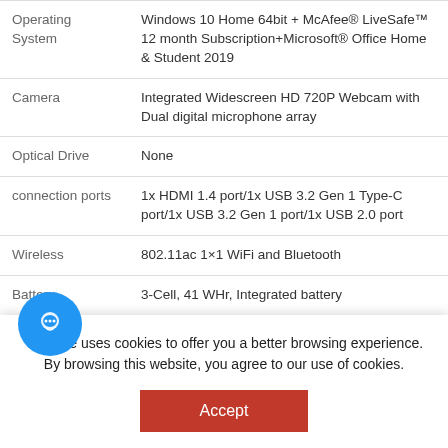| Feature | Details |
| --- | --- |
| Operating System | Windows 10 Home 64bit + McAfee® LiveSafe™ 12 month Subscription+Microsoft® Office Home & Student 2019 |
| Camera | Integrated Widescreen HD 720P Webcam with Dual digital microphone array |
| Optical Drive | None |
| connection ports | 1x HDMI 1.4 port/1x USB 3.2 Gen 1 Type-C port/1x USB 3.2 Gen 1 port/1x USB 2.0 port |
| Wireless | 802.11ac 1×1 WiFi and Bluetooth |
| Battery | 3-Cell, 41 WHr, Integrated battery |
This site uses cookies to offer you a better browsing experience. By browsing this website, you agree to our use of cookies.